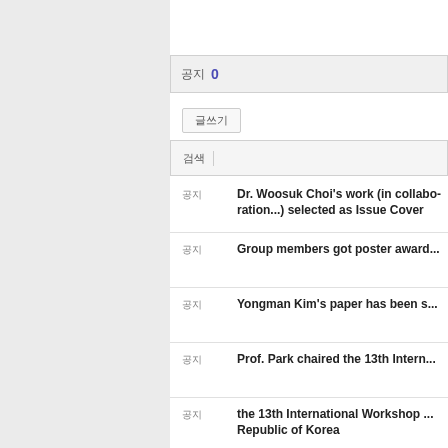공지 0
글쓰기
검색
Dr. Woosuk Choi's work (in collaboration...) selected as Issue Cover
Group members got poster award...
Yongman Kim's paper has been s...
Prof. Park chaired the 13th Intern...
the 13th International Workshop ... Republic of Korea
"Atomic scale tackling of greenh...
"Plasmonic hot hole driven water...
Editor of Nature Comm...